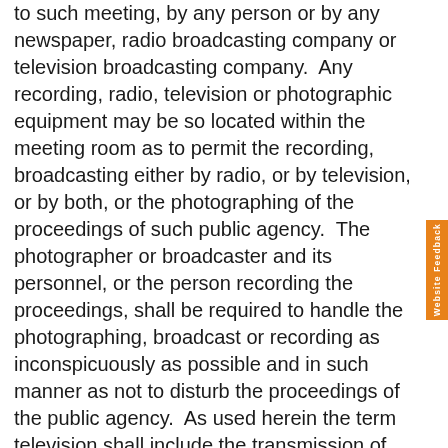to such meeting, by any person or by any newspaper, radio broadcasting company or television broadcasting company.  Any recording, radio, television or photographic equipment may be so located within the meeting room as to permit the recording, broadcasting either by radio, or by television, or by both, or the photographing of the proceedings of such public agency.  The photographer or broadcaster and its personnel, or the person recording the proceedings, shall be required to handle the photographing, broadcast or recording as inconspicuously as possible and in such manner as not to disturb the proceedings of the public agency.  As used herein the term television shall include the transmission of visual and audible signals by cable.

(b)  Any such public agency may adopt rules governing such recording, photography or the use of such broadcasting equipment for radio and television